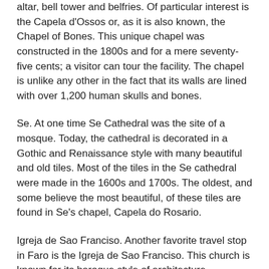altar, bell tower and belfries. Of particular interest is the Capela d'Ossos or, as it is also known, the Chapel of Bones. This unique chapel was constructed in the 1800s and for a mere seventy-five cents; a visitor can tour the facility. The chapel is unlike any other in the fact that its walls are lined with over 1,200 human skulls and bones.
Se. At one time Se Cathedral was the site of a mosque. Today, the cathedral is decorated in a Gothic and Renaissance style with many beautiful and old tiles. Most of the tiles in the Se cathedral were made in the 1600s and 1700s. The oldest, and some believe the most beautiful, of these tiles are found in Se's chapel, Capela do Rosario.
Igreja de Sao Franciso. Another favorite travel stop in Faro is the Igreja de Sao Franciso. This church is known for its baroque style of architecture. However, it is the church's tiles that intrigue visitors. The tiles are decorated and arranged to depict the life of the patron Saint Francis.
Museu Municipal. Faro is also home to many noteworthy museums. The Museu Municipal is no exception. The museum's home is a converted convent that was originally